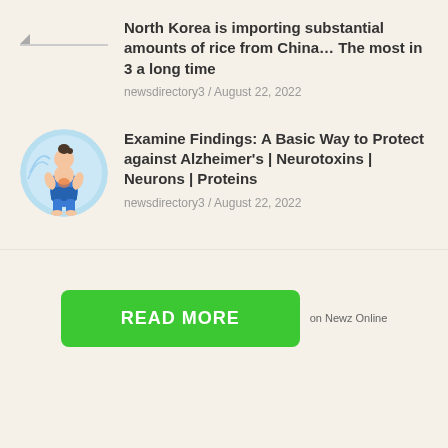[Figure (illustration): Small placeholder thumbnail image for first article about North Korea rice imports]
North Korea is importing substantial amounts of rice from China… The most in 3 a long time
newsdirectory3 / August 22, 2022
[Figure (illustration): Circular illustration of a woman in blue exercise outfit holding her abdomen, with light blue circular background]
Examine Findings: A Basic Way to Protect against Alzheimer's | Neurotoxins | Neurons | Proteins
newsdirectory3 / August 22, 2022
READ MORE
on Newz Online